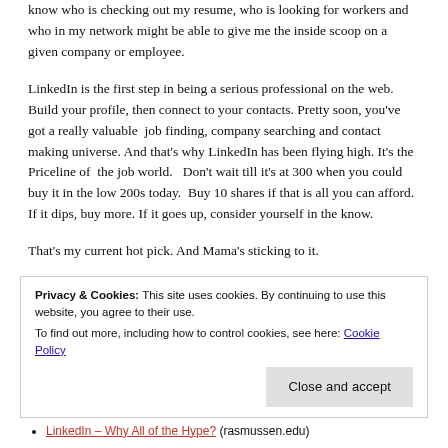know who is checking out my resume, who is looking for workers and who in my network might be able to give me the inside scoop on a given company or employee.
LinkedIn is the first step in being a serious professional on the web. Build your profile, then connect to your contacts. Pretty soon, you've got a really valuable  job finding, company searching and contact making universe. And that's why LinkedIn has been flying high. It's the Priceline of  the job world.   Don't wait till it's at 300 when you could buy it in the low 200s today.  Buy 10 shares if that is all you can afford. If it dips, buy more. If it goes up, consider yourself in the know.
That's my current hot pick. And Mama's sticking to it.
Privacy & Cookies: This site uses cookies. By continuing to use this website, you agree to their use.
To find out more, including how to control cookies, see here: Cookie Policy
LinkedIn – Why All of the Hype? (rasmussen.edu)